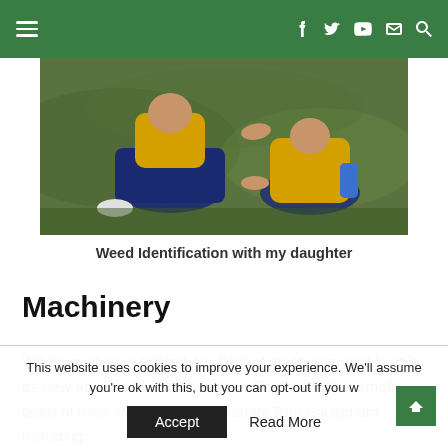Navigation bar with hamburger menu and social icons (Facebook, Twitter, YouTube, Email, Search)
[Figure (photo): Two people in yellow and dark blue sportswear sitting on grass, one passing something to the other, viewed from above.]
Weed Identification with my daughter
Machinery
We have always rotated our fleet of machinery and kept it as new as possible to maximize efficiency with a small team of men. We run predominantly Toro equipment including:
This website uses cookies to improve your experience. We'll assume you're ok with this, but you can opt-out if you w
Accept
Read More